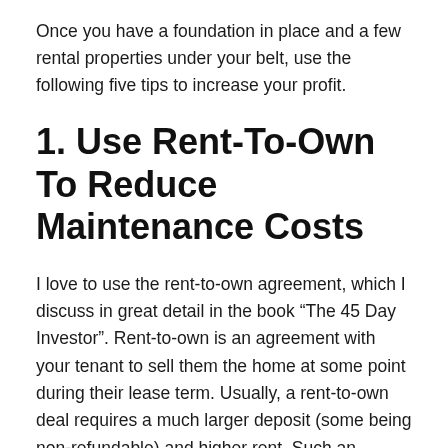Once you have a foundation in place and a few rental properties under your belt, use the following five tips to increase your profit.
1. Use Rent-To-Own To Reduce Maintenance Costs
I love to use the rent-to-own agreement, which I discuss in great detail in the book “The 45 Day Investor”. Rent-to-own is an agreement with your tenant to sell them the home at some point during their lease term. Usually, a rent-to-own deal requires a much larger deposit (some being non-refundable) and higher rent. Such an agreement is also a